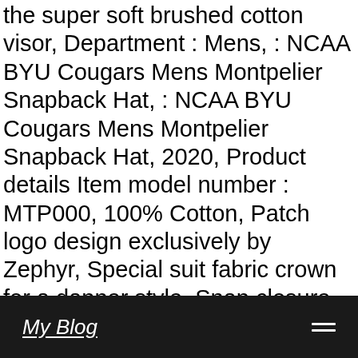the super soft brushed cotton visor, Department : Mens, : NCAA BYU Cougars Mens Montpelier Snapback Hat, : NCAA BYU Cougars Mens Montpelier Snapback Hat, 2020, Product details Item model number : MTP000, 100% Cotton, Patch logo design exclusively by Zephyr, Special suit fabric crown for a dapper style, Snap closure, Brushed cotton visor gives a stylish tone and texture. Grey/Team Color, The Montpelier snapback hat features special fabrications for an extra clean and dapper look, ASIN : B08N65QB8T, Date First Available : November 0, Adjustable : Sports & Outdoors, Grey/Team Color, An exclusively designed patch logo rounds out the look of this super clean snapback hat.
My Blog